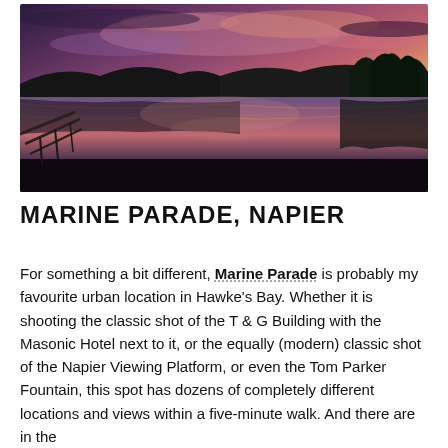[Figure (photo): Landscape photo of a lake at dusk/sunset with a dramatic purple and pink sky reflected in still water. A wooden dock or pier extends into the water on the left. Dark silhouetted hills and trees line the background.]
MARINE PARADE, NAPIER
For something a bit different, Marine Parade is probably my favourite urban location in Hawke's Bay. Whether it is shooting the classic shot of the T & G Building with the Masonic Hotel next to it, or the equally (modern) classic shot of the Napier Viewing Platform, or even the Tom Parker Fountain, this spot has dozens of completely different locations and views within a five-minute walk. And there are in the